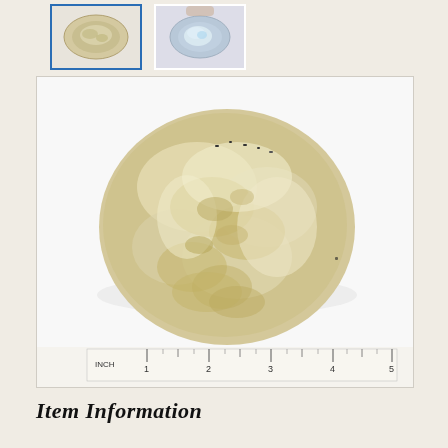[Figure (photo): Two small thumbnail images of a shell/mineral specimen. Left thumbnail is selected (blue border) showing top view of an oval shell. Right thumbnail shows interior iridescent view of shell.]
[Figure (photo): Main large photograph of an oval-shaped shell or mineral specimen with rough, encrusted exterior surface in cream, beige, and yellow-brown tones. A ruler at the bottom shows the specimen is approximately 3-4 inches long. The ruler starts at INCH mark and extends to 5 inches.]
Item Information